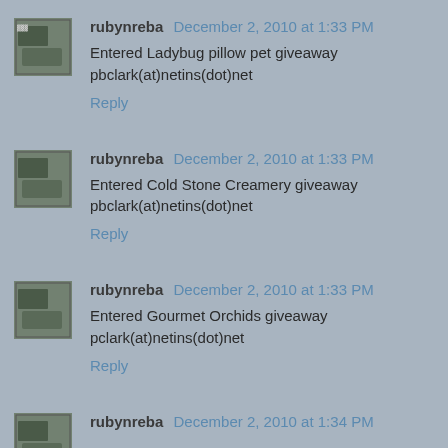rubynreba  December 2, 2010 at 1:33 PM
Entered Ladybug pillow pet giveaway pbclark(at)netins(dot)net
Reply
rubynreba  December 2, 2010 at 1:33 PM
Entered Cold Stone Creamery giveaway pbclark(at)netins(dot)net
Reply
rubynreba  December 2, 2010 at 1:33 PM
Entered Gourmet Orchids giveaway pclark(at)netins(dot)net
Reply
rubynreba  December 2, 2010 at 1:34 PM